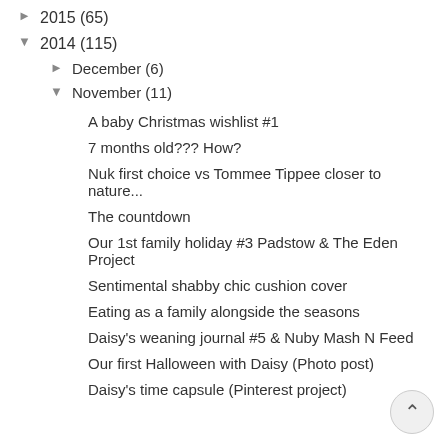► 2015 (65)
▼ 2014 (115)
► December (6)
▼ November (11)
A baby Christmas wishlist #1
7 months old??? How?
Nuk first choice vs Tommee Tippee closer to nature...
The countdown
Our 1st family holiday #3 Padstow & The Eden Project
Sentimental shabby chic cushion cover
Eating as a family alongside the seasons
Daisy's weaning journal #5 & Nuby Mash N Feed
Our first Halloween with Daisy (Photo post)
Daisy's time capsule (Pinterest project)